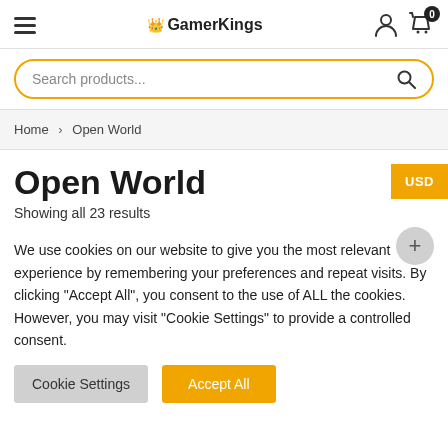GamerKings
Search products...
Home > Open World
Open World
Showing all 23 results
We use cookies on our website to give you the most relevant experience by remembering your preferences and repeat visits. By clicking "Accept All", you consent to the use of ALL the cookies. However, you may visit "Cookie Settings" to provide a controlled consent.
Cookie Settings
Accept All